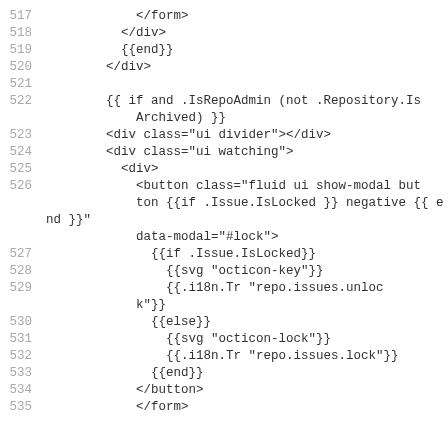517    </form>
518    </div>
519    {{end}}
520    </div>
521
522    {{ if and .IsRepoAdmin (not .Repository.IsArchived) }}
523    <div class="ui divider"></div>
524    <div class="ui watching">
525      <div>
526        <button class="fluid ui show-modal button {{if .Issue.IsLocked }} negative {{ end }}" data-modal="#lock">
527          {{if .Issue.IsLocked}}
528              {{svg "octicon-key"}}
529              {{.i18n.Tr "repo.issues.unlock"}}
530          {{else}}
531              {{svg "octicon-lock"}}
532              {{.i18n.Tr "repo.issues.lock"}}
533          {{end}}
534        </button>
535      </form>